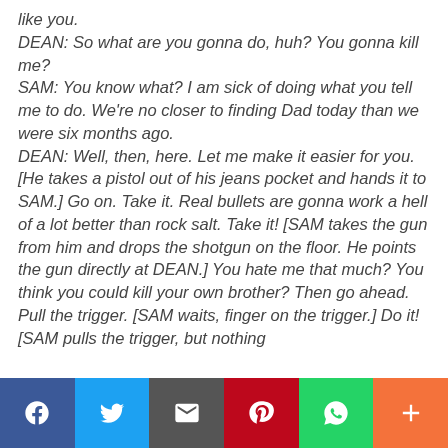like you. DEAN: So what are you gonna do, huh? You gonna kill me? SAM: You know what? I am sick of doing what you tell me to do. We're no closer to finding Dad today than we were six months ago. DEAN: Well, then, here. Let me make it easier for you. [He takes a pistol out of his jeans pocket and hands it to SAM.] Go on. Take it. Real bullets are gonna work a hell of a lot better than rock salt. Take it! [SAM takes the gun from him and drops the shotgun on the floor. He points the gun directly at DEAN.] You hate me that much? You think you could kill your own brother? Then go ahead. Pull the trigger. [SAM waits, finger on the trigger.] Do it! [SAM pulls the trigger, but nothing
[Figure (other): Social sharing bar with Facebook, Twitter, Email, Pinterest, WhatsApp, and More buttons]